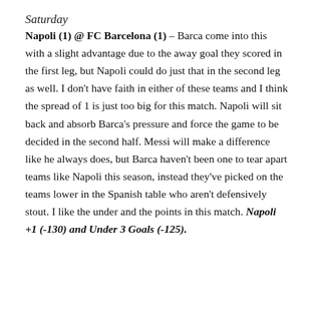Saturday
Napoli (1) @ FC Barcelona (1) – Barca come into this with a slight advantage due to the away goal they scored in the first leg, but Napoli could do just that in the second leg as well. I don't have faith in either of these teams and I think the spread of 1 is just too big for this match. Napoli will sit back and absorb Barca's pressure and force the game to be decided in the second half. Messi will make a difference like he always does, but Barca haven't been one to tear apart teams like Napoli this season, instead they've picked on the teams lower in the Spanish table who aren't defensively stout. I like the under and the points in this match. Napoli +1 (-130) and Under 3 Goals (-125).